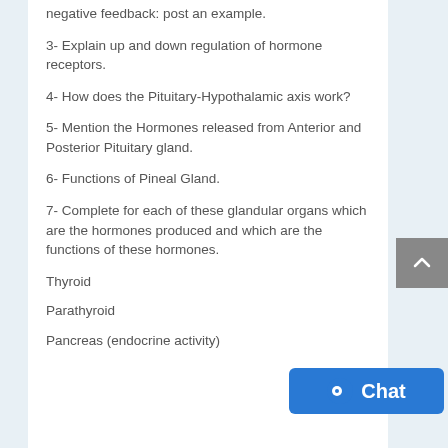negative feedback: post an example.
3-  Explain up and down regulation of hormone receptors.
4-  How does the  Pituitary-Hypothalamic axis work?
5-  Mention the  Hormones released from Anterior and  Posterior  Pituitary gland.
6-  Functions of  Pineal Gland.
7- Complete for each of these glandular organs which are the hormones produced and which are the functions of these hormones.
Thyroid
Parathyroid
Pancreas (endocrine activity)